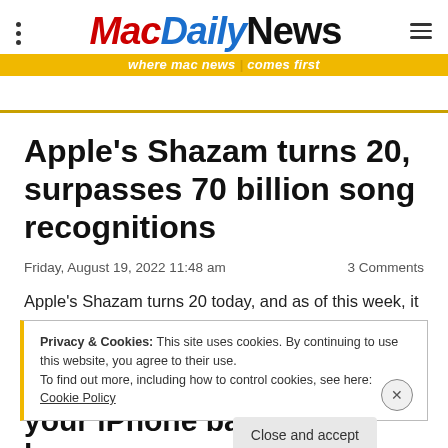MacDailyNews — where mac news comes first
Apple's Shazam turns 20, surpasses 70 billion song recognitions
Friday, August 19, 2022 11:48 am   3 Comments
Apple's Shazam turns 20 today, and as of this week, it has officially surpassed 70 billion song recognitions. A
Privacy & Cookies: This site uses cookies. By continuing to use this website, you agree to their use.
To find out more, including how to control cookies, see here: Cookie Policy
your iPhone battery last longer